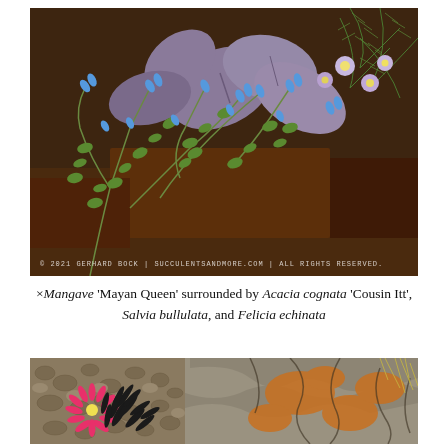[Figure (photo): Close-up photograph of ×Mangave 'Mayan Queen' plant with purple-gray succulent leaves, surrounded by Acacia cognata 'Cousin Itt' with fine green foliage, Salvia bullulata with tubular blue flowers on branching stems, and Felicia echinata with light purple daisy-like flowers. Dark reddish-brown soil visible. Watermark reads: © 2021 GERHARD BOCK | SUCCULENTSANDMORE.COM | ALL RIGHTS RESERVED.]
×Mangave 'Mayan Queen' surrounded by Acacia cognata 'Cousin Itt', Salvia bullulata, and Felicia echinata
[Figure (photo): Close-up photograph showing a bright pink daisy-like flower (Felicia echinata) with dark blackish-green feathery leaves against a rocky granite background with orange lichen.]